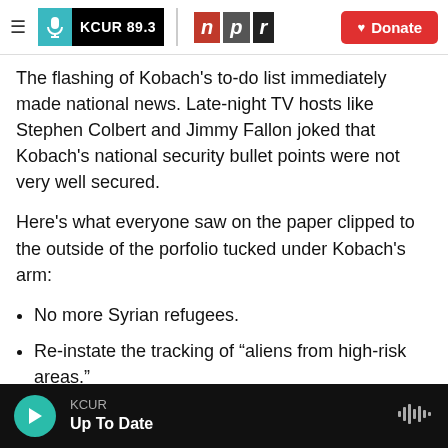KCUR 89.3 | npr | Donate
The flashing of Kobach's to-do list immediately made national news. Late-night TV hosts like Stephen Colbert and Jimmy Fallon joked that Kobach's national security bullet points were not very well secured.
Here's what everyone saw on the paper clipped to the outside of the porfolio tucked under Kobach's arm:
No more Syrian refugees.
Re-instate the tracking of "aliens from high-risk areas."
Reinstate the National Security Entry Exit
KCUR · Up To Date